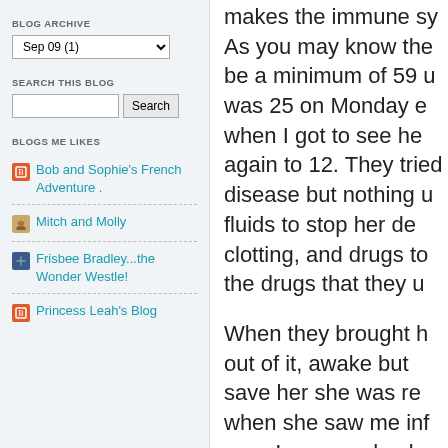BLOG ARCHIVE
Sep 09 (1)
SEARCH THIS BLOG
Search
BLOGS ME LIKES
Bob and Sophie's French Adventure .
Mitch and Molly
Frisbee Bradley...the Wonder Westle!
Princess Leah's Blog
makes the immune sy... As you may know the... be a minimum of 59 u... was 25 on Monday e... when I got to see he... again to 12. They trie... disease but nothing u... fluids to stop her de... clotting, and drugs to... the drugs that they u...
When they brought h... out of it, awake but... save her she was re... when she saw me inf... was. I was so shocke...